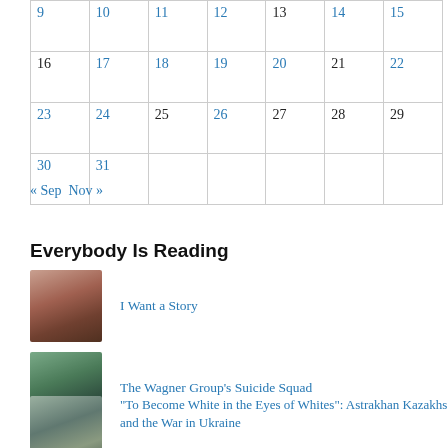|  |  |  |  |  |  |  |
| --- | --- | --- | --- | --- | --- | --- |
| 9 | 10 | 11 | 12 | 13 | 14 | 15 |
| 16 | 17 | 18 | 19 | 20 | 21 | 22 |
| 23 | 24 | 25 | 26 | 27 | 28 | 29 |
| 30 | 31 |  |  |  |  |  |
« Sep   Nov »
Everybody Is Reading
[Figure (photo): Two women posing for a photo]
I Want a Story
[Figure (photo): Young man in blue t-shirt]
The Wagner Group's Suicide Squad
[Figure (photo): Goat or animal in outdoor setting]
"To Become White in the Eyes of Whites": Astrakhan Kazakhs and the War in Ukraine